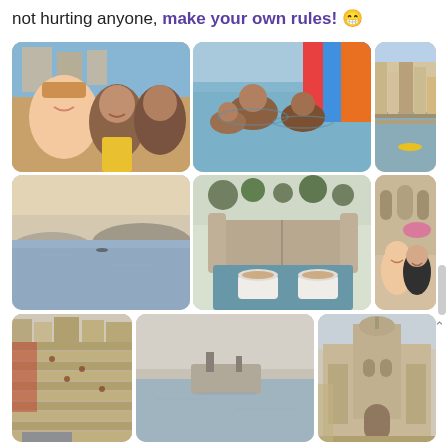not hurting anyone, make your own rules! 😁
[Figure (photo): Selfie of a woman with two young men near a waterfront in India]
[Figure (photo): People swimming in a river near colorful tarpaulins]
[Figure (photo): Aerial view of a city riverbank with buildings and boats]
[Figure (photo): Calm lake or river at dusk with distant hills]
[Figure (photo): Outdoor lounge area with sofa and two cups of coffee on a table]
[Figure (photo): Two women smiling in front of an ornate building]
[Figure (photo): Wide stone steps at a ghat leading down to a river]
[Figure (photo): Misty river scene with a boat and distant shore]
[Figure (photo): Large ornate stone fort or palace building]